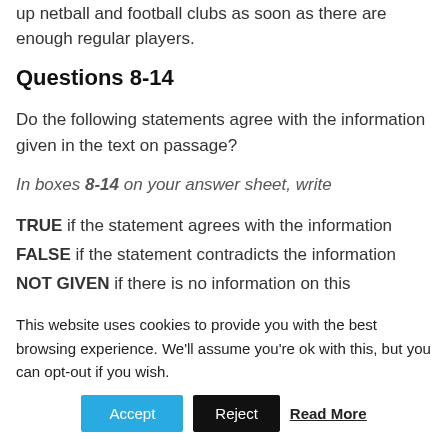up netball and football clubs as soon as there are enough regular players.
Questions 8-14
Do the following statements agree with the information given in the text on passage?
In boxes 8-14 on your answer sheet, write
TRUE if the statement agrees with the information
FALSE if the statement contradicts the information
NOT GIVEN if there is no information on this
This website uses cookies to provide you with the best browsing experience. We'll assume you're ok with this, but you can opt-out if you wish.